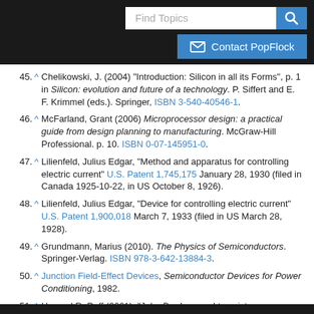[Figure (screenshot): Search bar with 'Find Topics' placeholder and blue search button]
[Figure (screenshot): Blue 'Contact PopFlock' button with envelope icon]
45. ^ Chelikowski, J. (2004) "Introduction: Silicon in all its Forms", p. 1 in Silicon: evolution and future of a technology. P. Siffert and E. F. Krimmel (eds.). Springer, ISBN 3-540-40546-1.
46. ^ McFarland, Grant (2006) Microprocessor design: a practical guide from design planning to manufacturing. McGraw-Hill Professional. p. 10. ISBN 0-07-145951-0.
47. ^ Lilienfeld, Julius Edgar, "Method and apparatus for controlling electric current" U.S. Patent 1,745,175 January 28, 1930 (filed in Canada 1925-10-22, in US October 8, 1926).
48. ^ Lilienfeld, Julius Edgar, "Device for controlling electric current" U.S. Patent 1,900,018 March 7, 1933 (filed in US March 28, 1928).
49. ^ Grundmann, Marius (2010). The Physics of Semiconductors. Springer-Verlag. ISBN 978-3-642-13884-3.
50. ^ Junction Field-Effect Devices, Semiconductor Devices for Power Conditioning, 1982.
51. ^ Howard R. Duff (2001). "John Bardeen and transistor…